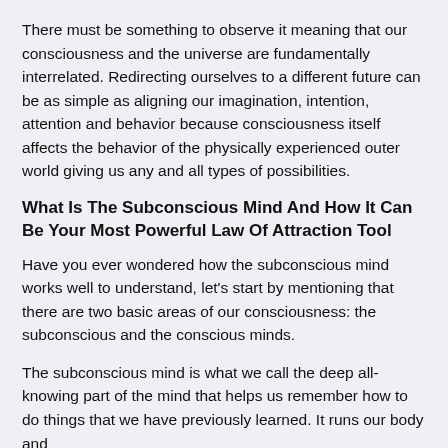There must be something to observe it meaning that our consciousness and the universe are fundamentally interrelated. Redirecting ourselves to a different future can be as simple as aligning our imagination, intention, attention and behavior because consciousness itself affects the behavior of the physically experienced outer world giving us any and all types of possibilities.
What Is The Subconscious Mind And How It Can Be Your Most Powerful Law Of Attraction Tool
Have you ever wondered how the subconscious mind works well to understand, let's start by mentioning that there are two basic areas of our consciousness: the subconscious and the conscious minds.
The subconscious mind is what we call the deep all-knowing part of the mind that helps us remember how to do things that we have previously learned. It runs our body and